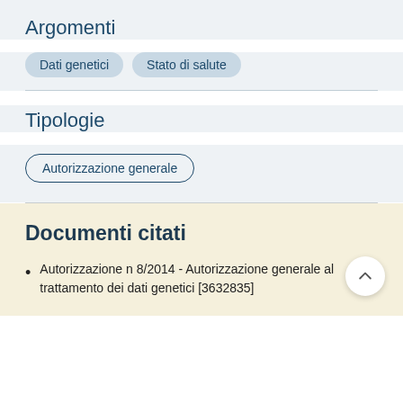Argomenti
Dati genetici   Stato di salute
Tipologie
Autorizzazione generale
Documenti citati
Autorizzazione n 8/2014 - Autorizzazione generale al trattamento dei dati genetici [3632835]